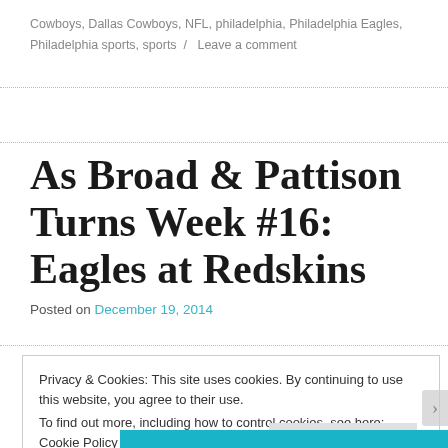Cowboys, Dallas Cowboys, NFL, philadelphia, Philadelphia Eagles, Philadelphia sports, sports  /  Leave a comment
As Broad & Pattison Turns Week #16: Eagles at Redskins
Posted on December 19, 2014
Privacy & Cookies: This site uses cookies. By continuing to use this website, you agree to their use.
To find out more, including how to control cookies, see here: Cookie Policy
Close and accept